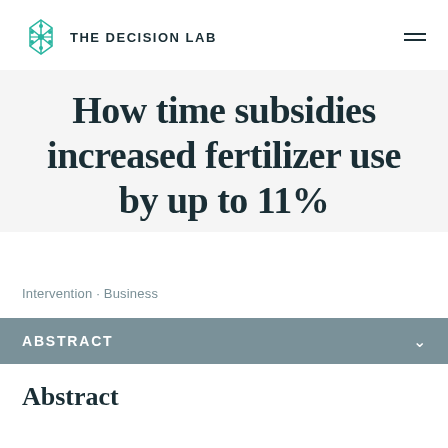THE DECISION LAB
How time subsidies increased fertilizer use by up to 11%
Intervention · Business
ABSTRACT
Abstract